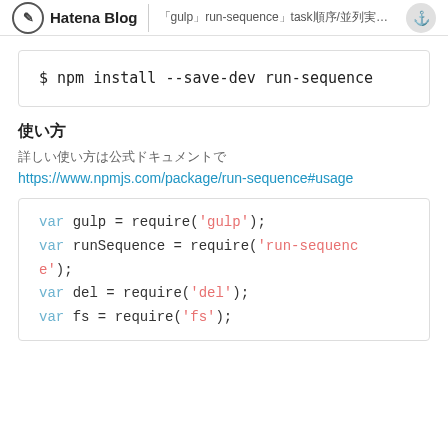Hatena Blog | 「gulp」run-sequence」task順序/並列実行のまとめ...
$ npm install --save-dev run-sequence
使い方
詳しい使い方は公式ドキュメントで
https://www.npmjs.com/package/run-sequence#usage
var gulp = require('gulp');
var runSequence = require('run-sequence');
var del = require('del');
var fs = require('fs');